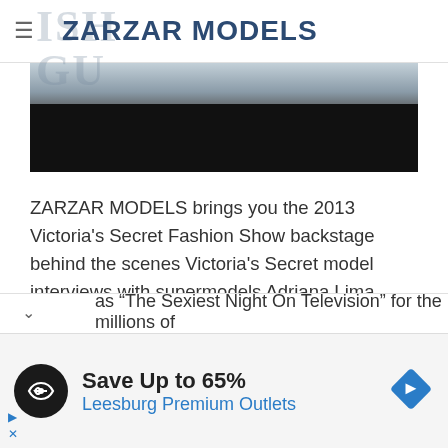ZARZAR MODELS
[Figure (photo): Hero image showing backstage fashion show scene, partially visible people at top fading into black]
ZARZAR MODELS brings you the 2013 Victoria’s Secret Fashion Show backstage behind the scenes Victoria’s Secret model interviews with supermodels Adriana Lima, Doutzen Kroes, Erin Heatherton, Sui He, and Maryna Linchuk about what makes them sexy and super beautiful as they prepare for the lingerie fashion show of the year known around the ... as “The Sexiest Night On Television” for the millions of
[Figure (infographic): Advertisement banner: Save Up to 65% Leesburg Premium Outlets with circular logo icon and direction arrow diamond icon]